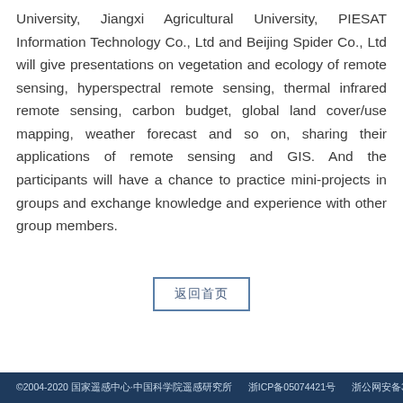University, Jiangxi Agricultural University, PIESAT Information Technology Co., Ltd and Beijing Spider Co., Ltd will give presentations on vegetation and ecology of remote sensing, hyperspectral remote sensing, thermal infrared remote sensing, carbon budget, global land cover/use mapping, weather forecast and so on, sharing their applications of remote sensing and GIS. And the participants will have a chance to practice mini-projects in groups and exchange knowledge and experience with other group members.
[Figure (other): A button with Chinese characters (四个汉字) with a rectangular border]
©2004-2020 国家遥感中心·中国科学院遥感研究所 浙ICP备05074421号 浙公网安备33010602010295